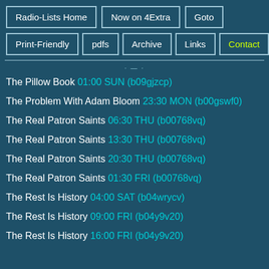Radio-Lists Home
Now on 4Extra
Goto
Print-Friendly
pdfs
Archive
Links
Contact
The Pillow Book 01:00 SUN (b09gjzcp)
The Problem With Adam Bloom 23:30 MON (b00gswf0)
The Real Patron Saints 06:30 THU (b00768vq)
The Real Patron Saints 13:30 THU (b00768vq)
The Real Patron Saints 20:30 THU (b00768vq)
The Real Patron Saints 01:30 FRI (b00768vq)
The Rest Is History 04:00 SAT (b04wrycv)
The Rest Is History 09:00 FRI (b04y9v20)
The Rest Is History 16:00 FRI (b04y9v20)